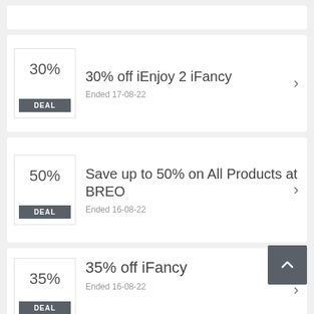30% off iEnjoy 2 iFancy — Ended 17-08-22
Save up to 50% on All Products at BREO — Ended 16-08-22
35% off iFancy — Ended 16-08-22